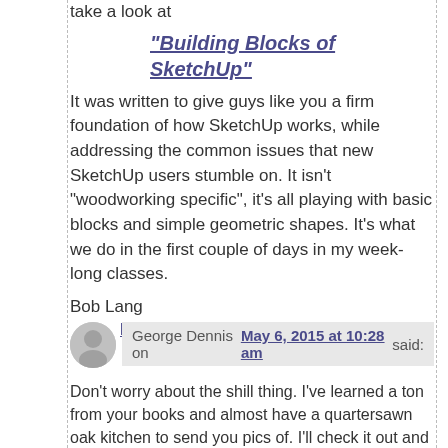take a look at
"Building Blocks of SketchUp"
It was written to give guys like you a firm foundation of how SketchUp works, while addressing the common issues that new SketchUp users stumble on. It isn't “woodworking specific”, it's all playing with basic blocks and simple geometric shapes. It's what we do in the first couple of days in my week-long classes.
Bob Lang
Reply ↓
George Dennis on May 6, 2015 at 10:28 am said:
Don’t worry about the shill thing. I’ve learned a ton from your books and almost have a quartersawn oak kitchen to send you pics of. I’ll check it out and when you have a 2015 class schedule I'd love to attend one.
George
Reply ↓